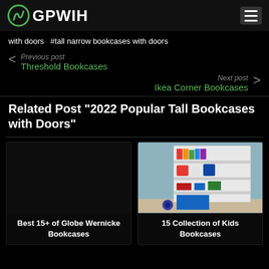GPWIH
with doors  #tall narrow bookcases with doors
Previous post
Threshold Bookcases
Next post
Ikea Corner Bookcases
Related Post "2022 Popular Tall Bookcases with Doors"
[Figure (photo): Dark/black placeholder image card for Best 15+ of Globe Wernicke Bookcases]
Best 15+ of Globe Wernicke Bookcases
[Figure (photo): Photo of a white leaning ladder bookcase against a blue-grey wall with colorful books, toys and items on shelves]
15 Collection of Kids Bookcases